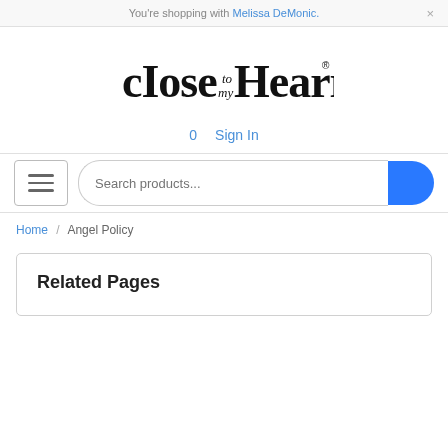You're shopping with Melissa DeMonic.
[Figure (logo): Close To My Heart logo — stylized serif text reading 'close to my Heart' with decorative script for 'to my']
0   Sign In
Search products...
Home / Angel Policy
Related Pages